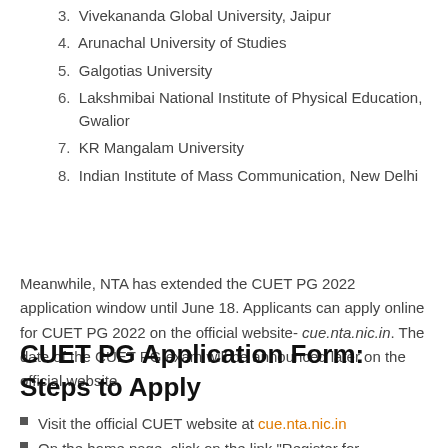3. Vivekananda Global University, Jaipur
4. Arunachal University of Studies
5. Galgotias University
6. Lakshmibai National Institute of Physical Education, Gwalior
7. KR Mangalam University
8. Indian Institute of Mass Communication, New Delhi
Meanwhile, NTA has extended the CUET PG 2022 application window until June 18. Applicants can apply online for CUET PG 2022 on the official website- cue.nta.nic.in. The date of the CUET PG exam will be announced later on the official website.
CUET PG Application Form: Steps to Apply
Visit the official CUET website at cue.nta.nic.in
On the home page, click on the link "Register for